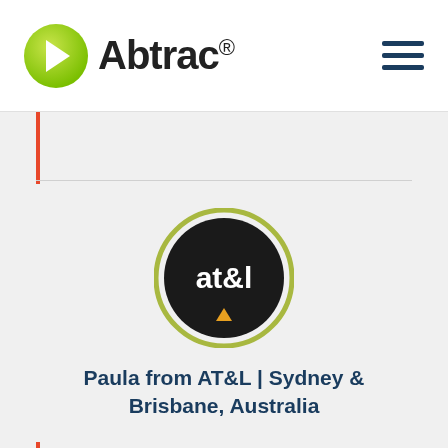[Figure (logo): Abtrac logo with green circle containing white right-pointing arrow and bold text 'Abtrac®']
[Figure (logo): AT&L circular logo: dark circle with 'at&l' text in white and small yellow triangle below, surrounded by olive/yellow-green ring]
Paula from AT&L | Sydney & Brisbane, Australia
The reason I like Abtrac is you can talk to people. It's